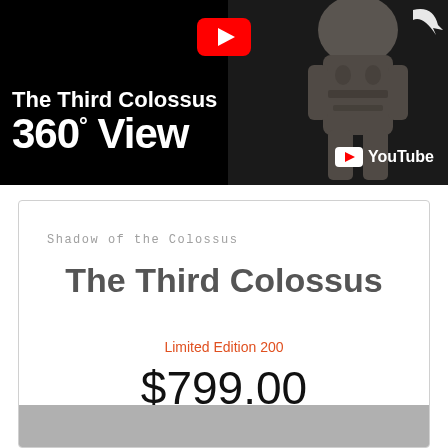[Figure (screenshot): YouTube video thumbnail for 'The Third Colossus 360° View' showing a dark background with a stone colossus statue on the right, a YouTube play button icon at top center, a rotating arrow, and YouTube logo bottom right. White bold text reads 'The Third Colossus' and '360° View'.]
Shadow of the Colossus
The Third Colossus
Limited Edition 200
$799.00